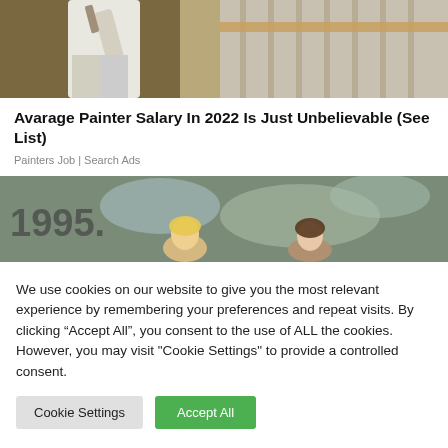[Figure (photo): A person in white work clothes painting a wall, upper body visible, holding painting tool near a staircase railing area]
Avarage Painter Salary In 2022 Is Just Unbelievable (See List)
Painters Job | Search Ads
[Figure (photo): Two young women standing in front of a graffiti-covered wall outdoors]
We use cookies on our website to give you the most relevant experience by remembering your preferences and repeat visits. By clicking “Accept All”, you consent to the use of ALL the cookies. However, you may visit "Cookie Settings" to provide a controlled consent.